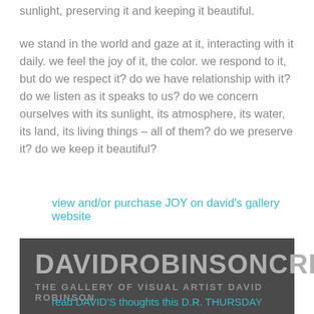sunlight, preserving it and keeping it beautiful.
we stand in the world and gaze at it, interacting with it daily. we feel the joy of it, the color. we respond to it, but do we respect it? do we have relationship with it? do we listen as it speaks to us? do we concern ourselves with its sunlight, its atmosphere, its water, its land, its living things – all of them? do we preserve it? do we keep it beautiful?
view and/or purchase JOY on david's gallery website
[Figure (logo): DAVIDROBINSONCREATIVE banner with subtitle THE GALLERY OF VISUAL ARTIST DAVID ROBINSON on a dark grey background]
read DAVID'S thoughts this D.R. THURSDAY